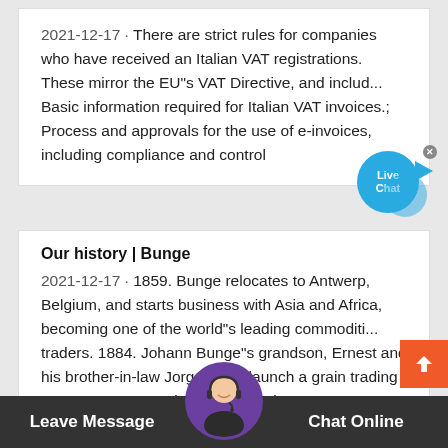2021-12-17 · There are strict rules for companies who have received an Italian VAT registrations. These mirror the EU"s VAT Directive, and includ... Basic information required for Italian VAT invoices.; Process and approvals for the use of e-invoices, including compliance and control
Our history | Bunge
2021-12-17 · 1859. Bunge relocates to Antwerp, Belgium, and starts business with Asia and Africa, becoming one of the world"s leading commoditi... traders. 1884. Johann Bunge"s grandson, Ernest and his brother-in-law Jorge Born, launch a grain trading company. Bo...orn, in the burgeoning
Leave Message
Chat Online